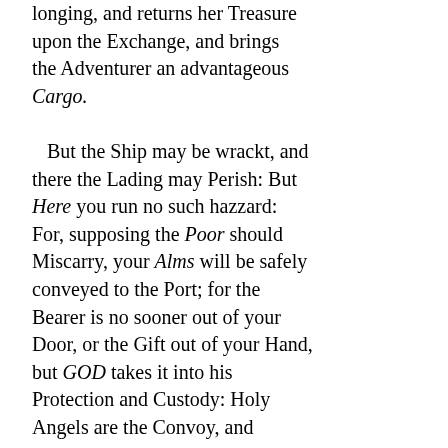longing, and returns her Treasure upon the Exchange, and brings the Adventurer an advantageous Cargo.

But the Ship may be wrackt, and there the Lading may Perish: But Here you run no such hazzard: For, supposing the Poor should Miscarry, your Alms will be safely conveyed to the Port; for the Bearer is no sooner out of your Door, or the Gift out of your Hand, but GOD takes it into his Protection and Custody: Holy Angels are the Convoy, and CHRIST looking upon the Donative, now to be Consecrated, undertakes to ballance all Losses. He considers of Gains,   [Page 74] to place to the Donor's Account, and of a way to double your